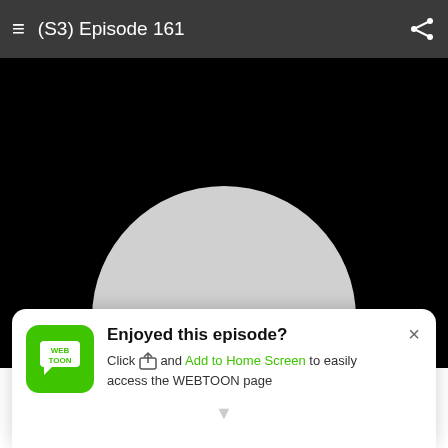(S3) Episode 161
[Figure (screenshot): Black background with a large light gray circle partially visible at bottom center, with the beginning of text 'YEAH, WE NOTICED' in bold black letters on the circle]
[Figure (infographic): WiFi signal icon in green with a red exclamation mark badge indicating a connectivity error]
Enjoyed this episode?
Click and Add to Home Screen to easily access the WEBTOON page